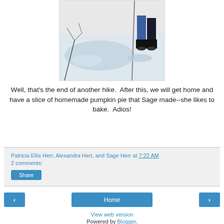[Figure (photo): Photo of snowy ground with people standing in snow, partially visible legs and boots, winter scene with bare branches]
Well, that's the end of another hike.  After this, we will get home and have a slice of homemade pumpkin pie that Sage made--she likes to bake.  Adios!
Patricia Ellis Herr, Alexandra Herr, and Sage Herr at 7:22 AM
2 comments:
Share
‹  Home  ›
View web version
Powered by Blogger.